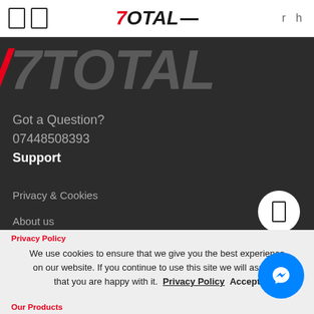7Total
[Figure (logo): 7Total brand logo displayed large in dark banner background]
Got a Question?
07448508393
Support
Privacy & Cookies
About us
Contact Us
My Account
Privacy Policy
We use cookies to ensure that we give you the best experience on our website. If you continue to use this site we will assume that you are happy with it.  Privacy Policy  Accept
Our Products